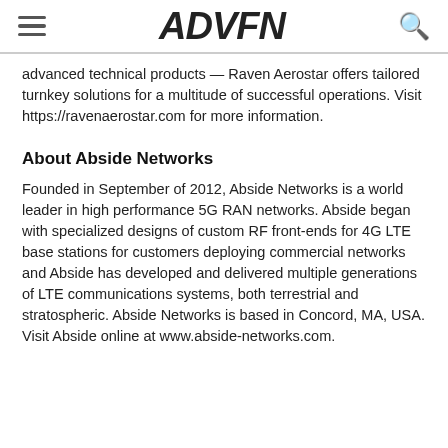ADVFN
advanced technical products — Raven Aerostar offers tailored turnkey solutions for a multitude of successful operations. Visit https://ravenaerostar.com for more information.
About Abside Networks
Founded in September of 2012, Abside Networks is a world leader in high performance 5G RAN networks. Abside began with specialized designs of custom RF front-ends for 4G LTE base stations for customers deploying commercial networks and Abside has developed and delivered multiple generations of LTE communications systems, both terrestrial and stratospheric. Abside Networks is based in Concord, MA, USA. Visit Abside online at www.abside-networks.com.